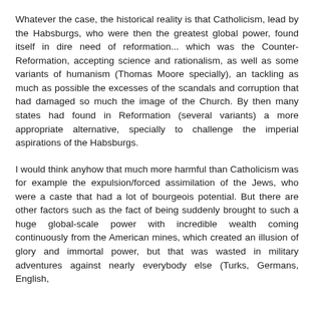Whatever the case, the historical reality is that Catholicism, lead by the Habsburgs, who were then the greatest global power, found itself in dire need of reformation... which was the Counter-Reformation, accepting science and rationalism, as well as some variants of humanism (Thomas Moore specially), an tackling as much as possible the excesses of the scandals and corruption that had damaged so much the image of the Church. By then many states had found in Reformation (several variants) a more appropriate alternative, specially to challenge the imperial aspirations of the Habsburgs.
I would think anyhow that much more harmful than Catholicism was for example the expulsion/forced assimilation of the Jews, who were a caste that had a lot of bourgeois potential. But there are other factors such as the fact of being suddenly brought to such a huge global-scale power with incredible wealth coming continuously from the American mines, which created an illusion of glory and immortal power, but that was wasted in military adventures against nearly everybody else (Turks, Germans, English,